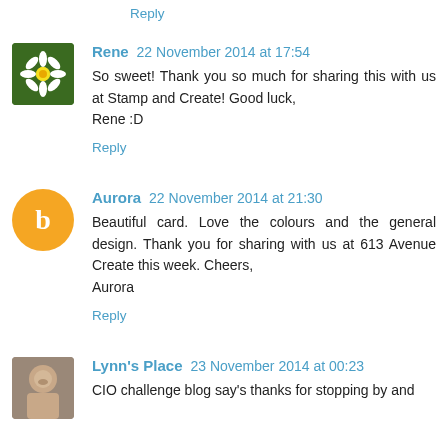Reply
Rene 22 November 2014 at 17:54
So sweet! Thank you so much for sharing this with us at Stamp and Create! Good luck,
Rene :D
Reply
Aurora 22 November 2014 at 21:30
Beautiful card. Love the colours and the general design. Thank you for sharing with us at 613 Avenue Create this week. Cheers,
Aurora
Reply
Lynn's Place 23 November 2014 at 00:23
CIO challenge blog say's thanks for stopping by and